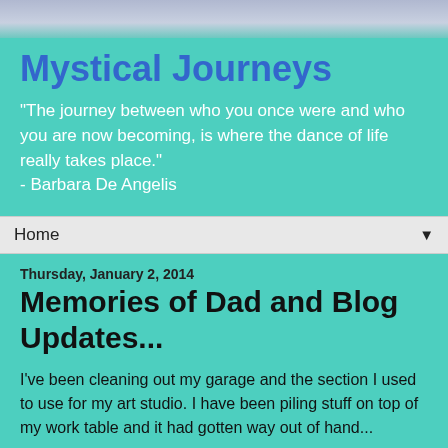[Figure (photo): Sky/horizon band at top of page]
Mystical Journeys
"The journey between who you once were and who you are now becoming, is where the dance of life really takes place." - Barbara De Angelis
Home ▼
Thursday, January 2, 2014
Memories of Dad and Blog Updates...
I've been cleaning out my garage and the section I used to use for my art studio.  I have been piling stuff on top of my work table and it had gotten way out of hand...
I came across the bin with ALL my Dad's saved letters and cards given to him for birthdays, Father's Day and get well wishes prior to him going into the nursing home.  He saved every one.  It has taken me a couple weeks to go through it